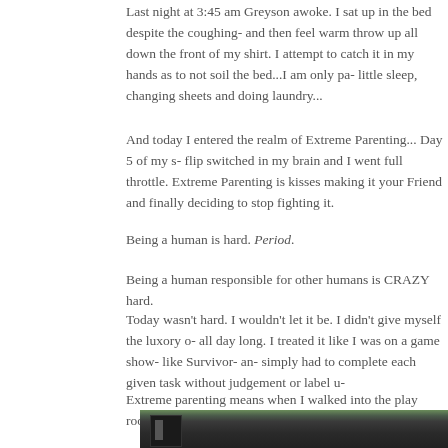Last night at 3:45 am Greyson awoke. I sat up in the bed despite the coughing- and then feel warm throw up all down the front of my shirt. I attempt to catch it in my hands as to not soil the bed...I am only pa- little sleep, changing sheets and doing laundry...
And today I entered the realm of Extreme Parenting... Day 5 of my s- flip switched in my brain and I went full throttle. Extreme Parenting is kisses making it your Friend and finally deciding to stop fighting it.
Being a human is hard. Period.
Being a human responsible for other humans is CRAZY hard.
Today wasn't hard. I wouldn't let it be. I didn't give myself the luxory o- all day long. I treated it like I was on a game show- like Survivor- an- simply had to complete each given task without judgement or label u-
Extreme parenting means when I walked into the play room and saw
[Figure (photo): Partial view of a dark-colored outdoor scene, appears to show a yard or paved area with some green foliage visible at top, blurry/out-of-focus image.]